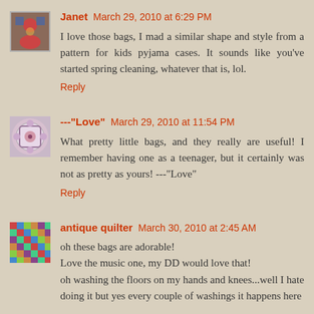Janet March 29, 2010 at 6:29 PM
I love those bags, I mad a similar shape and style from a pattern for kids pyjama cases. It sounds like you've started spring cleaning, whatever that is, lol.
Reply
---"Love" March 29, 2010 at 11:54 PM
What pretty little bags, and they really are useful! I remember having one as a teenager, but it certainly was not as pretty as yours! ---"Love"
Reply
antique quilter March 30, 2010 at 2:45 AM
oh these bags are adorable!
Love the music one, my DD would love that!
oh washing the floors on my hands and knees...well I hate doing it but yes every couple of washings it happens here